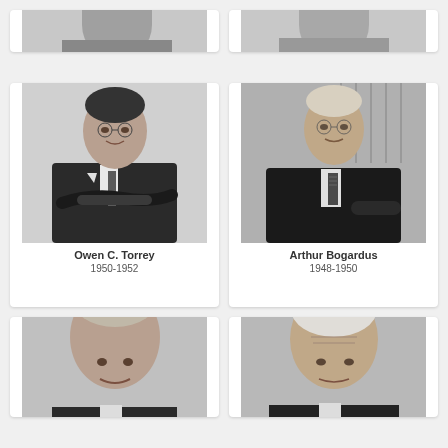[Figure (photo): Top-left portrait photo (partially visible, cropped at top)]
[Figure (photo): Top-right portrait photo (partially visible, cropped at top)]
[Figure (photo): Black and white formal portrait of Owen C. Torrey, seated with arms crossed, wearing dark suit]
Owen C. Torrey
1950-1952
[Figure (photo): Black and white formal portrait of Arthur Bogardus, seated in chair wearing dark suit with patterned tie]
Arthur Bogardus
1948-1950
[Figure (photo): Black and white portrait of bald man (bottom-left, partially visible, cropped at bottom)]
[Figure (photo): Black and white portrait of white-haired man (bottom-right, partially visible, cropped at bottom)]